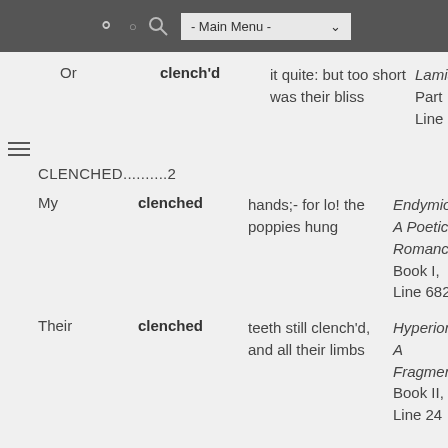- Main Menu -
|  | keyword | context | source |
| --- | --- | --- | --- |
| Or | clench'd | it quite: but too short was their bliss | Lamia, Part II, Line 9 |
| CLENCHED..........2 |  |  |  |
| My | clenched | hands;- for lo! the poppies hung | Endymion: A Poetic Romance, Book I, Line 682 |
| Their | clenched | teeth still clench'd, and all their limbs | Hyperion: A Fragment, Book II, Line 24 |